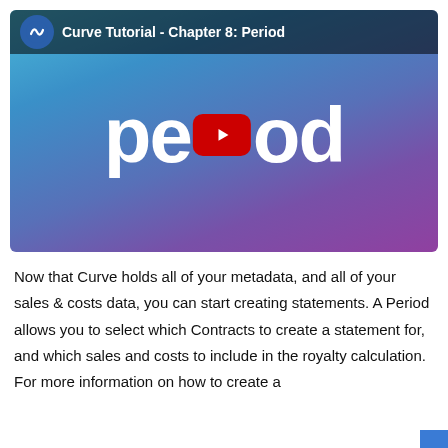[Figure (screenshot): YouTube-style video thumbnail for 'Curve Tutorial - Chapter 8: Period'. Shows a gradient background from teal/blue to purple, with the word 'period' in large white text and a YouTube play button in place of the letter 'i'. A top bar shows the Curve logo and the title 'Curve Tutorial - Chapter 8: Period'.]
Now that Curve holds all of your metadata, and all of your sales & costs data, you can start creating statements. A Period allows you to select which Contracts to create a statement for, and which sales and costs to include in the royalty calculation. For more information on how to create a Period, please visit the How To Create A Period & Statement...